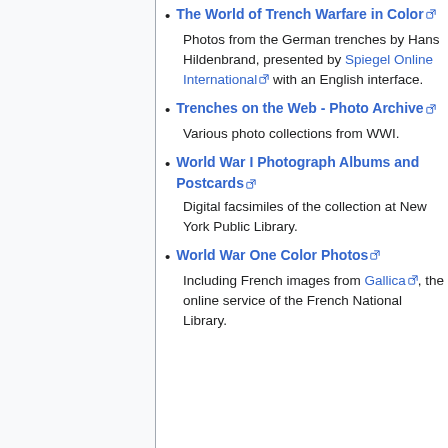The World of Trench Warfare in Color – Photos from the German trenches by Hans Hildenbrand, presented by Spiegel Online International with an English interface.
Trenches on the Web - Photo Archive – Various photo collections from WWI.
World War I Photograph Albums and Postcards – Digital facsimiles of the collection at New York Public Library.
World War One Color Photos – Including French images from Gallica, the online service of the French National Library.